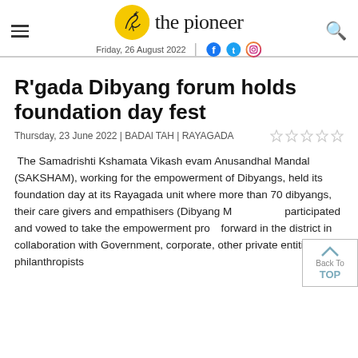the pioneer — Friday, 26 August 2022
R'gada Dibyang forum holds foundation day fest
Thursday, 23 June 2022 | BADAl TAH | RAYAGADA
The Samadrishti Kshamata Vikash evam Anusandhal Mandal (SAKSHAM), working for the empowerment of Dibyangs, held its foundation day at its Rayagada unit where more than 70 dibyangs, their care givers and empathisers (Dibyang M...) participated and vowed to take the empowerment process forward in the district in collaboration with Government, corporate, other private entities and philanthropists